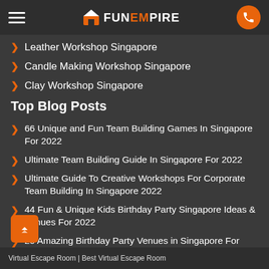FunEmpire
Leather Workshop Singapore
Candle Making Workshop Singapore
Clay Workshop Singapore
Top Blog Posts
66 Unique and Fun Team Building Games In Singapore For 2022
Ultimate Team Building Guide In Singapore For 2022
Ultimate Guide To Creative Workshops For Corporate Team Building In Singapore 2022
44 Fun & Unique Kids Birthday Party Singapore Ideas & Venues For 2022
20 Amazing Birthday Party Venues in Singapore For 2022
65 Best Things To Do In Singapore For 2022
Ready For These Activities?
Virtual Escape Room | Best Virtual Escape Room